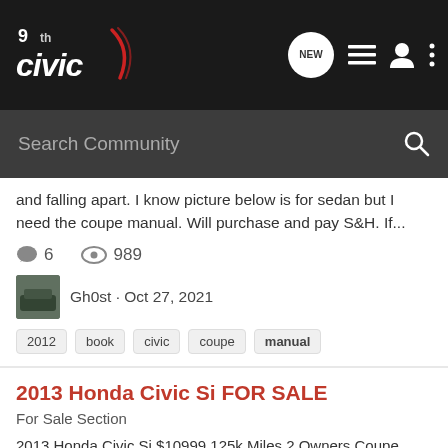9thGen Civic
Search Community
and falling apart. I know picture below is for sedan but I need the coupe manual. Will purchase and pay S&H. If...
6   989
Gh0st · Oct 27, 2021
2012  book  civic  coupe  manual
2013 Honda Civic Si FOR SALE
For Sale Section
2013 Honda Civic Si $10999 125k Miles 2 Owners Coupe FOR SALE LOCATED IN FORT LAUDERDALE, FL!!! CLEAN TITLE 2.4L I VTEC 4 CYLINDER 6 SPEED MANUAL ORIGINAL PAINT AND CAR IS SUPER CLEAN NEW CLUTCH NEW FRONT BRAKE PADS AND ROTORS JUST SERVICED ICE COLD AC RUNS LIKE NEW